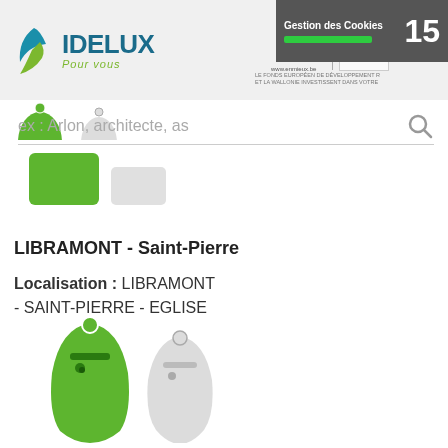IDELUX Pour vous - Gestion des Cookies 15
ex : Arlon, architecte, as
[Figure (illustration): Green and white recycling container icons (top half, cropped)]
LIBRAMONT - Saint-Pierre
Localisation : LIBRAMONT - SAINT-PIERRE - EGLISE
[Figure (illustration): Green and white bell-shaped recycling container icons]